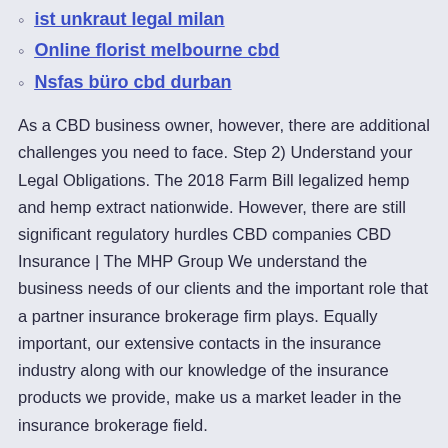ist unkraut legal milan
Online florist melbourne cbd
Nsfas büro cbd durban
As a CBD business owner, however, there are additional challenges you need to face. Step 2) Understand your Legal Obligations. The 2018 Farm Bill legalized hemp and hemp extract nationwide. However, there are still significant regulatory hurdles CBD companies CBD Insurance | The MHP Group We understand the business needs of our clients and the important role that a partner insurance brokerage firm plays. Equally important, our extensive contacts in the insurance industry along with our knowledge of the insurance products we provide, make us a market leader in the insurance brokerage field.